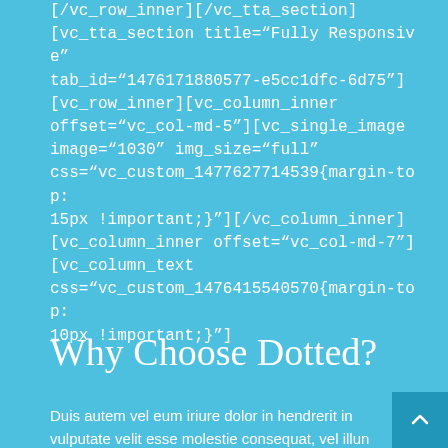[/vc_row_inner][/vc_tta_section] [vc_tta_section title="Fully Responsive" tab_id="1476171880577-e5cc1dfc-6d75"] [vc_row_inner][vc_column_inner offset="vc_col-md-5"][vc_single_image image="1030" img_size="full" css="vc_custom_1477627714539{margin-top: 15px !important;}"][/vc_column_inner] [vc_column_inner offset="vc_col-md-7"] [vc_column_text css="vc_custom_1476415540570{margin-top: 10px !important;}"]
Why Choose Dotted?
Duis autem vel eum iriure dolor in hendrerit in vulputate velit esse molestie consequat, vel illun